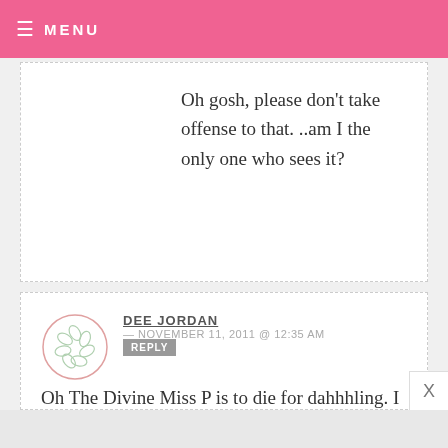MENU
Oh gosh, please don’t take offense to that. ..am I the only one who sees it?
DEE JORDAN — NOVEMBER 11, 2011 @ 12:35 AM
REPLY
Oh The Divine Miss P is to die for dahhhling. I wish I was making Muppets this weekend instead of Twilight for our GNO party!